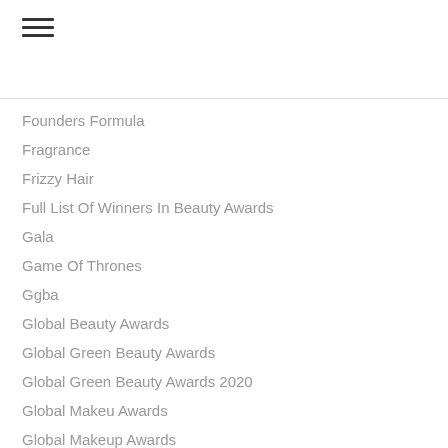Founders Formula
Fragrance
Frizzy Hair
Full List Of Winners In Beauty Awards
Gala
Game Of Thrones
Ggba
Global Beauty Awards
Global Green Beauty Awards
Global Green Beauty Awards 2020
Global Makeu Awards
Global Makeup Awards
Global Makeup Awards 2019
Global Makeup Awards 2020 Announcement
Global Makeup Magazine
Global Makeup Wards
Gma
Gold Ten In One Hair